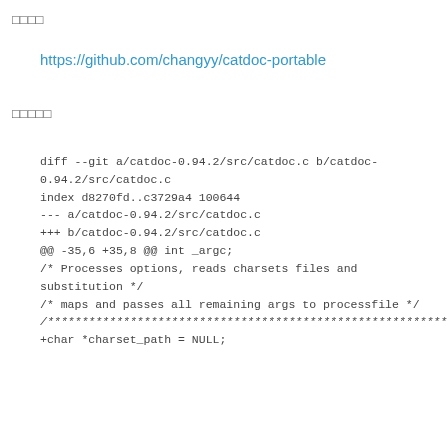□□□□
https://github.com/changyy/catdoc-portable
□□□□□
diff --git a/catdoc-0.94.2/src/catdoc.c b/catdoc-0.94.2/src/catdoc.c
index d8270fd..c3729a4 100644
--- a/catdoc-0.94.2/src/catdoc.c
+++ b/catdoc-0.94.2/src/catdoc.c
@@ -35,6 +35,8 @@ int _argc;
/* Processes options, reads charsets files and substitution */
/* maps and passes all remaining args to processfile */
/*************************************************************/
+char *charset_path = NULL;